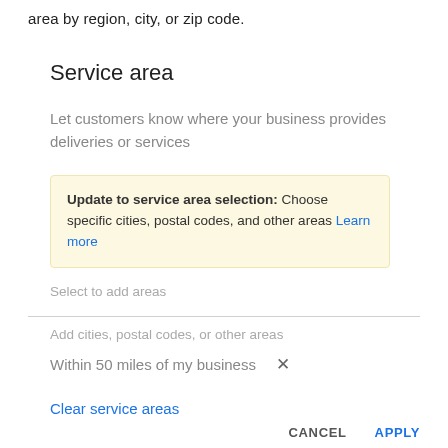area by region, city, or zip code.
Service area
Let customers know where your business provides deliveries or services
Update to service area selection: Choose specific cities, postal codes, and other areas Learn more
Select to add areas
Add cities, postal codes, or other areas
Within 50 miles of my business ×
Clear service areas
CANCEL
APPLY